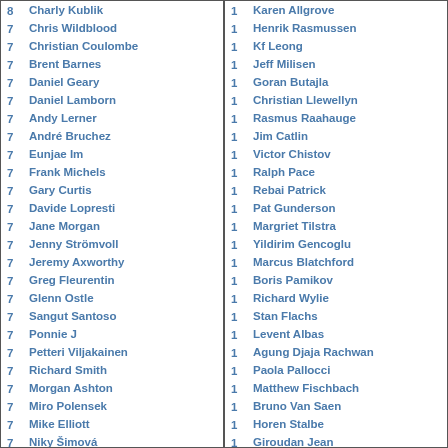| Count | Name |
| --- | --- |
| 8 | Charly Kublik |
| 7 | Chris Wildblood |
| 7 | Christian Coulombe |
| 7 | Brent Barnes |
| 7 | Daniel Geary |
| 7 | Daniel Lamborn |
| 7 | Andy Lerner |
| 7 | André Bruchez |
| 7 | Eunjae Im |
| 7 | Frank Michels |
| 7 | Gary Curtis |
| 7 | Davide Lopresti |
| 7 | Jane Morgan |
| 7 | Jenny Strömvoll |
| 7 | Jeremy Axworthy |
| 7 | Greg Fleurentin |
| 7 | Glenn Ostle |
| 7 | Sangut Santoso |
| 7 | Ponnie J |
| 7 | Petteri Viljakainen |
| 7 | Richard Smith |
| 7 | Morgan Ashton |
| 7 | Miro Polensek |
| 7 | Mike Elliott |
| 7 | Niky Šimová |
| Count | Name |
| --- | --- |
| 1 | Karen Allgrove |
| 1 | Henrik Rasmussen |
| 1 | Kf Leong |
| 1 | Jeff Milisen |
| 1 | Goran Butajla |
| 1 | Christian Llewellyn |
| 1 | Rasmus Raahauge |
| 1 | Jim Catlin |
| 1 | Victor Chistov |
| 1 | Ralph Pace |
| 1 | Rebai Patrick |
| 1 | Pat Gunderson |
| 1 | Margriet Tilstra |
| 1 | Yildirim Gencoglu |
| 1 | Marcus Blatchford |
| 1 | Boris Pamikov |
| 1 | Richard Wylie |
| 1 | Stan Flachs |
| 1 | Levent Albas |
| 1 | Agung Djaja Rachwan |
| 1 | Paola Pallocci |
| 1 | Matthew Fischbach |
| 1 | Bruno Van Saen |
| 1 | Horen Stalbe |
| 1 | Giroudan Jean |